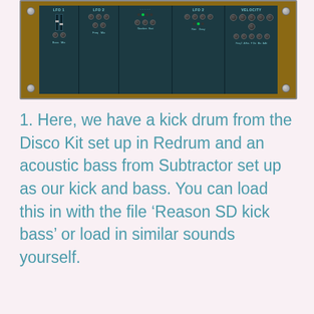[Figure (screenshot): A screenshot of a synthesizer rack interface (Reason software) showing multiple modules including Redrum drum machine and Subtractor synthesizer with teal/green colored panels, knobs, sliders, and LEDs on a wooden rack frame.]
1. Here, we have a kick drum from the Disco Kit set up in Redrum and an acoustic bass from Subtractor set up as our kick and bass. You can load this in with the file ‘Reason SD kick bass’ or load in similar sounds yourself.